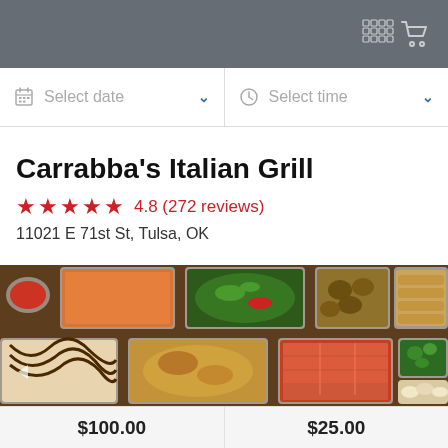Shopping cart icon
Select date   Select time
Carrabba's Italian Grill
★★★★★ 4.8 (272 reviews)
11021 E 71st St, Tulsa, OK
[Figure (photo): Overhead view of multiple catering trays of Italian food including pasta, salad, mushrooms, stuffed rolls, dessert with chocolate drizzle, chicken, lasagna, broccoli, and sliced potatoes/bread]
$100.00   $25.00